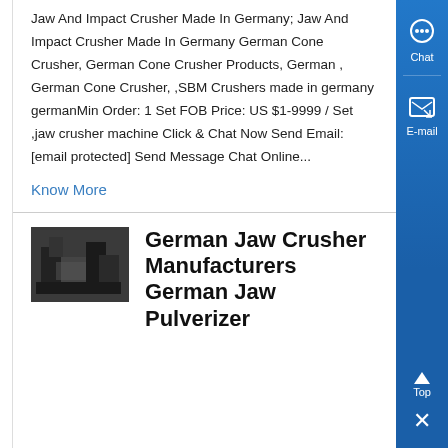Jaw And Impact Crusher Made In Germany; Jaw And Impact Crusher Made In Germany German Cone Crusher, German Cone Crusher Products, German , German Cone Crusher, ,SBM Crushers made in germany germanMin Order: 1 Set FOB Price: US $1-9999 / Set ,jaw crusher machine Click & Chat Now Send Email: [email protected] Send Message Chat Online...
Know More
[Figure (photo): Thumbnail photo of a jaw crusher machine, dark industrial machinery]
German Jaw Crusher Manufacturers German Jaw Pulverizer